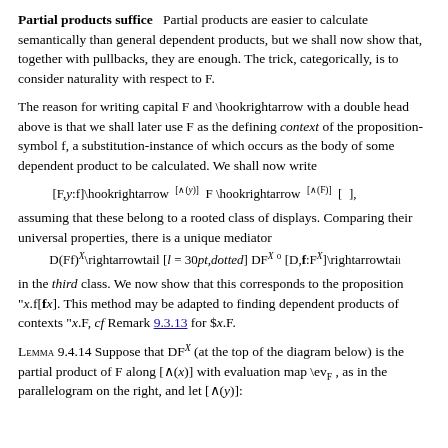Partial products suffice   Partial products are easier to calculate semantically than general dependent products, but we shall now show that, together with pullbacks, they are enough. The trick, categorically, is to consider naturality with respect to F.
The reason for writing capital F and \hookrightarrow with a double head above is that we shall later use F as the defining context of the proposition-symbol f, a substitution-instance of which occurs as the body of some dependent product to be calculated. We shall now write
assuming that these belong to a rooted class of displays. Comparing their universal properties, there is a unique mediator
in the third class. We now show that this corresponds to the proposition "x.f[fx]. This method may be adapted to finding dependent products of contexts "x.F, cf Remark 9.3.13 for $x.F.
Lemma 9.4.14 Suppose that DF^X (at the top of the diagram below) is the partial product of F along [∧(x)] with evaluation map \ev_F , as in the parallelogram on the right, and let [∧(y)]: